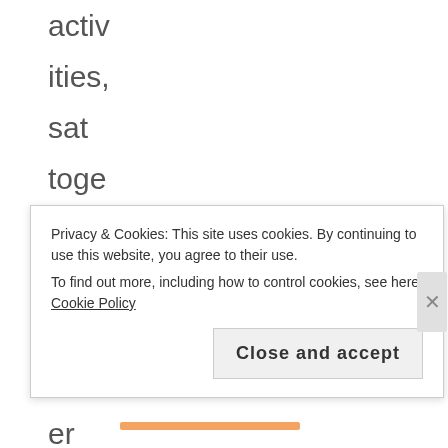activities, sat together at the dinner table and spoken
Privacy & Cookies: This site uses cookies. By continuing to use this website, you agree to their use.
To find out more, including how to control cookies, see here: Cookie Policy
Close and accept